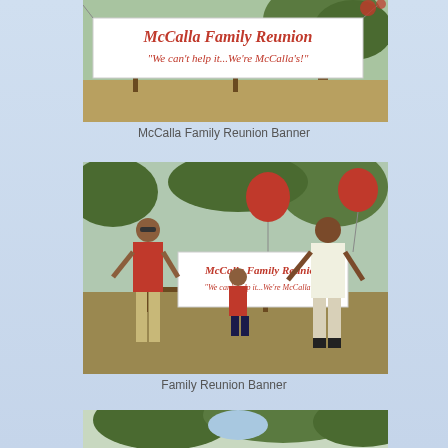[Figure (photo): Photo of a white banner hung between trees reading 'McCalla Family Reunion - We can't help it... We're McCalla's!' in red script lettering, at an outdoor park setting.]
McCalla Family Reunion Banner
[Figure (photo): Photo of three people (two adults and a child crouching) posing outdoors at a park, holding a McCalla Family Reunion banner. Red star-shaped balloons visible in background. Woman on left wearing red t-shirt, man on right in white shirt.]
Family Reunion Banner
[Figure (photo): Partial photo showing the tops of trees at a park, partially visible at bottom of page.]